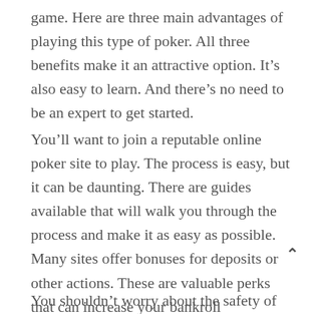game. Here are three main advantages of playing this type of poker. All three benefits make it an attractive option. It’s also easy to learn. And there’s no need to be an expert to get started.
You’ll want to join a reputable online poker site to play. The process is easy, but it can be daunting. There are guides available that will walk you through the process and make it as easy as possible. Many sites offer bonuses for deposits or other actions. These are valuable perks that can increase your bankroll considerably. A good guide will teach you how to use these bonuses. If you’re new to online poker, you’ll find it easy to sign up and start playing.
You shouldn’t worry about the safety of your funds when